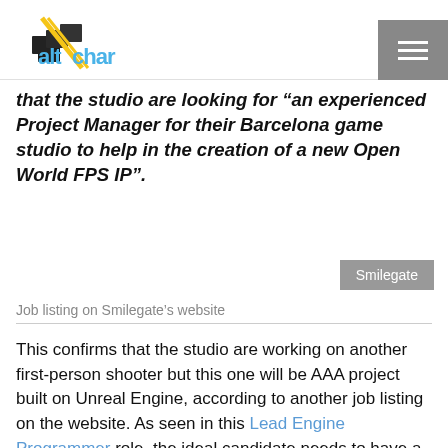altchar logo and navigation
that the studio are looking for "an experienced Project Manager for their Barcelona game studio to help in the creation of a new Open World FPS IP".
[Figure (other): Smilegate grey button label]
Job listing on Smilegate's website
This confirms that the studio are working on another first-person shooter but this one will be AAA project built on Unreal Engine, according to another job listing on the website. As seen in this Lead Engine Programmer role, the ideal candidate needs to have a "strong understanding of Unreal engine and how to expand it."
"In do not a list of all more on a in more to not more with